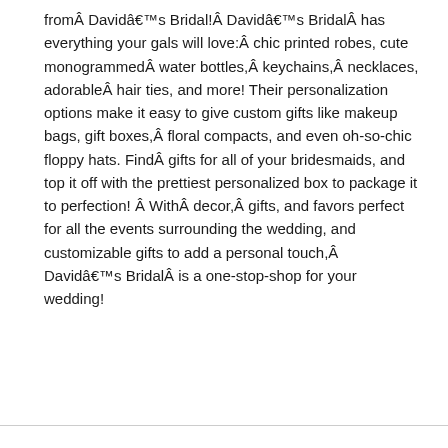fromÂ Davidâ€™s Bridal!Â Davidâ€™s BridalÂ has everything your gals will love:Â chic printed robes, cute monogrammedÂ water bottles,Â keychains,Â necklaces, adorableÂ hair ties, and more! Their personalization options make it easy to give custom gifts like makeup bags, gift boxes,Â floral compacts, and even oh-so-chic floppy hats. FindÂ gifts for all of your bridesmaids, and top it off with the prettiest personalized box to package it to perfection! Â WithÂ decor,Â gifts, and favors perfect for all the events surrounding the wedding, and customizable gifts to add a personal touch,Â Davidâ€™s BridalÂ is a one-stop-shop for your wedding!